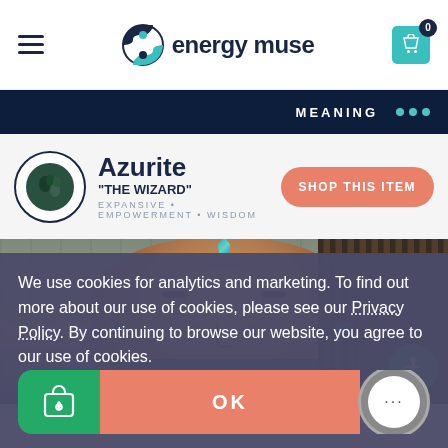[Figure (screenshot): Energy Muse website header with hamburger menu, logo (yin-yang style icon with 'energy muse' text), and teal shopping cart with badge showing 0]
MEANING ...
Azurite
"THE WIZARD"
EXPANSIVE • EMPOWERMENT • WISDOM
[Figure (photo): Man with dreadlocks holding a blue crystal to his forehead, eyes closed, wearing blue disc earrings, set against wooden background. Accessibility icon in bottom right corner.]
We use cookies for analytics and marketing. To find out more about our use of cookies, please see our Privacy Policy. By continuing to browse our website, you agree to our use of cookies.
OK